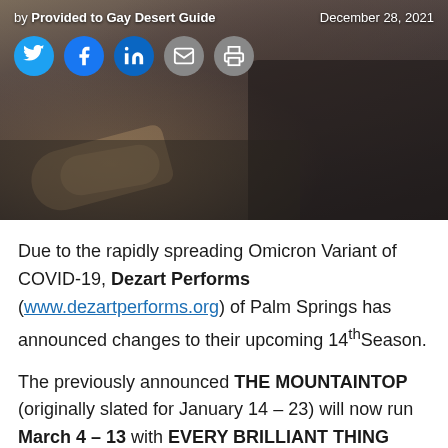[Figure (photo): Photo banner showing people seated, with social sharing icons and byline overlaid on top]
by Provided to Gay Desert Guide    December 28, 2021
Due to the rapidly spreading Omicron Variant of COVID-19, Dezart Performs (www.dezartperforms.org) of Palm Springs has announced changes to their upcoming 14th Season.
The previously announced THE MOUNTAINTOP (originally slated for January 14 – 23) will now run March 4 – 13 with EVERY BRILLIANT THING running as previously